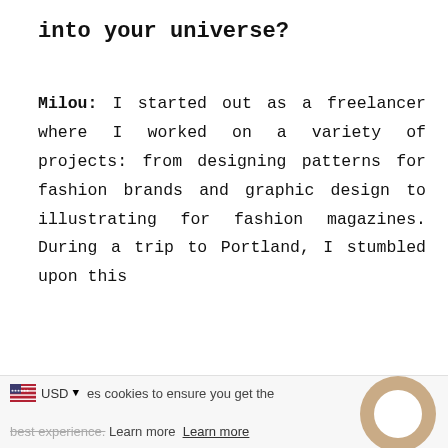into your universe?
Milou: I started out as a freelancer where I worked on a variety of projects: from designing patterns for fashion brands and graphic design to illustrating for fashion magazines. During a trip to Portland, I stumbled upon this beautiful golden Japanese M…
USD ▼ es cookies to ensure you get the best experience. Learn more  Learn more